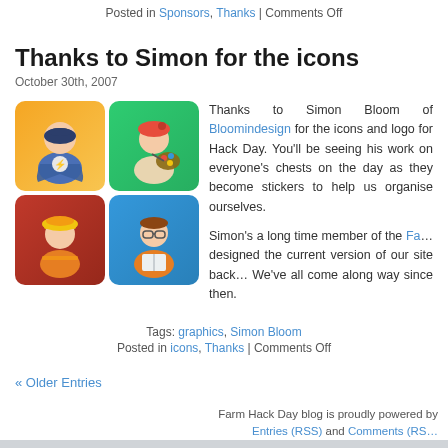Posted in Sponsors, Thanks | Comments Off
Thanks to Simon for the icons
October 30th, 2007
[Figure (illustration): Four role-based avatar icons in a 2x2 grid: superhero, artist, construction worker, student/reader]
Thanks to Simon Bloom of Bloomindesign for the icons and logo for Hack Day. You'll be seeing his work on everyone's chests on the day as they become stickers to help us organise ourselves. Simon's a long time member of the Fa... designed the current version of our site back... We've all come along way since then.
Tags: graphics, Simon Bloom
Posted in icons, Thanks | Comments Off
« Older Entries
Farm Hack Day blog is proudly powered by Entries (RSS) and Comments (RS...